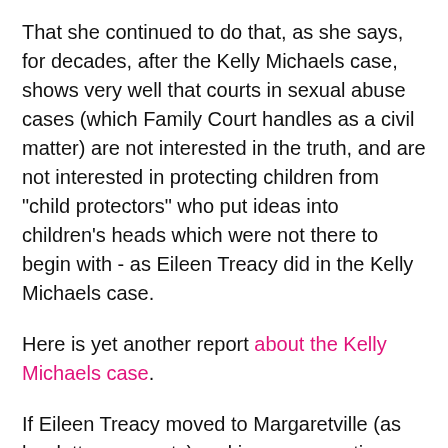That she continued to do that, as she says, for decades, after the Kelly Michaels case, shows very well that courts in sexual abuse cases (which Family Court handles as a civil matter) are not interested in the truth, and are not interested in protecting children from "child protectors" who put ideas into children's heads which were not there to begin with - as Eileen Treacy did in the Kelly Michaels case.
Here is yet another report about the Kelly Michaels case.
If Eileen Treacy moved to Margaretville (as her letter suggests) and is now expecting a handout from Gary Rosa in court appointments as an expert in return for support of his candidacy in judicial elections - I am against Gary Rosa.